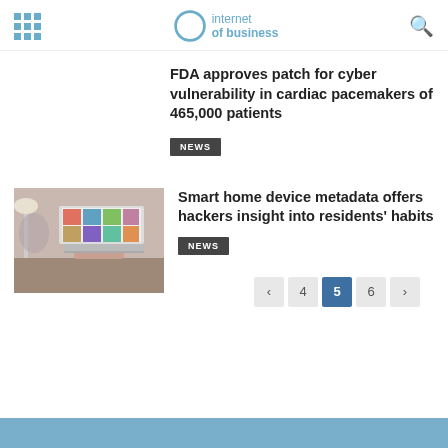internet of business
FDA approves patch for cyber vulnerability in cardiac pacemakers of 465,000 patients
NEWS
[Figure (photo): Person using a laptop computer at a desk]
Smart home device metadata offers hackers insight into residents' habits
NEWS
< 4 5 6 >